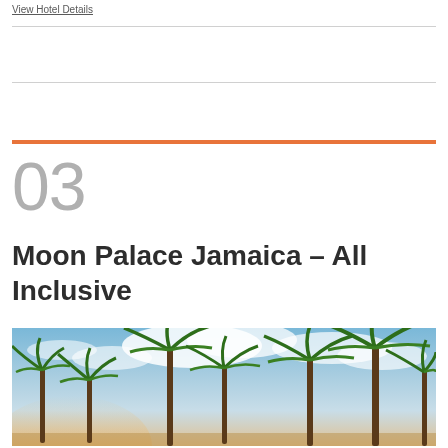View Hotel Details
03
Moon Palace Jamaica – All Inclusive
[Figure (photo): Tropical beach scene with tall palm trees against a blue and cloudy sky at sunset]